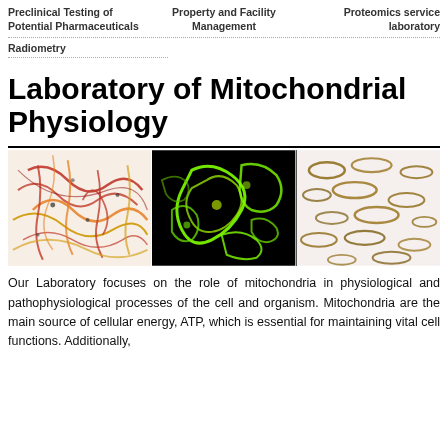Preclinical Testing of Potential Pharmaceuticals | Property and Facility Management | Proteomics service laboratory
Radiometry
Laboratory of Mitochondrial Physiology
[Figure (photo): Three microscopy images of mitochondria: left shows red/yellow stained mitochondria network, center shows fluorescence microscopy (green mitochondria on black background), right shows brown immunostained mitochondria on light background]
Our Laboratory focuses on the role of mitochondria in physiological and pathophysiological processes of the cell and organism. Mitochondria are the main source of cellular energy, ATP, which is essential for maintaining vital cell functions. Additionally,